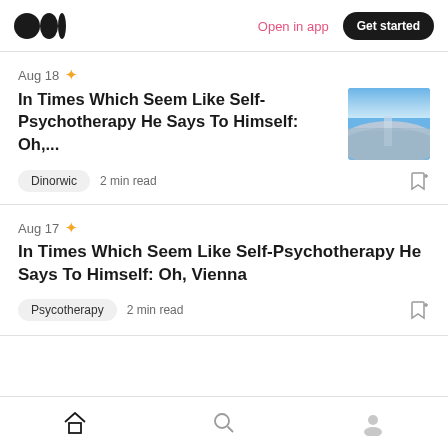Medium logo | Open in app | Get started
Aug 18 ★
In Times Which Seem Like Self-Psychotherapy He Says To Himself: Oh,...
[Figure (photo): Aerial landscape photo showing a body of water and shoreline]
Dinorwic  2 min read
Aug 17 ★
In Times Which Seem Like Self-Psychotherapy He Says To Himself: Oh, Vienna
Psycotherapy  2 min read
Home | Search | Profile